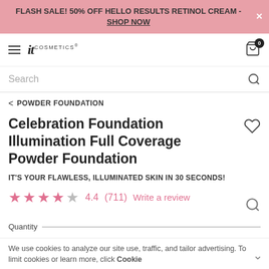FLASH SALE! 50% OFF HELLO RESULTS RETINOL CREAM - SHOP NOW
[Figure (logo): IT Cosmetics logo with hamburger menu and cart icon showing badge 0]
Search
< POWDER FOUNDATION
Celebration Foundation Illumination Full Coverage Powder Foundation
IT'S YOUR FLAWLESS, ILLUMINATED SKIN IN 30 SECONDS!
4.4 (711)  Write a review
Quantity
We use cookies to analyze our site use, traffic, and tailor advertising. To limit cookies or learn more, click Cookie